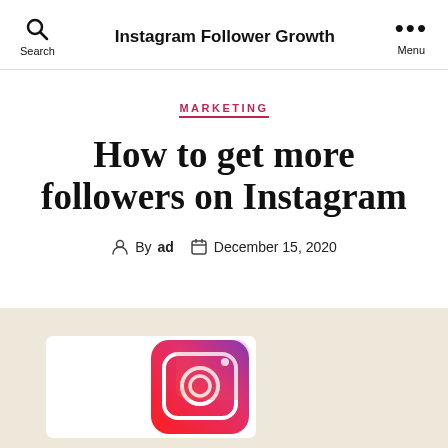Instagram Follower Growth
MARKETING
How to get more followers on Instagram
By ad   December 15, 2020
[Figure (photo): Instagram logo / camera icon graphic with gradient pink and purple colors on white card background, set against a tan/beige section background]